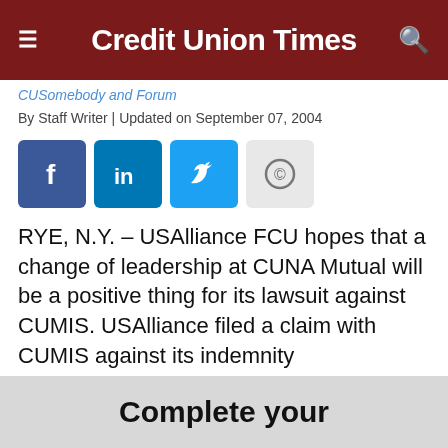Credit Union Times
CUSomebody and Forum
By Staff Writer | Updated on September 07, 2004
[Figure (other): Social sharing buttons: Facebook, LinkedIn, Twitter, Copyright]
RYE, N.Y. – USAlliance FCU hopes that a change of leadership at CUNA Mutual will be a positive thing for its lawsuit against CUMIS. USAlliance filed a claim with CUMIS against its indemnity
Complete your